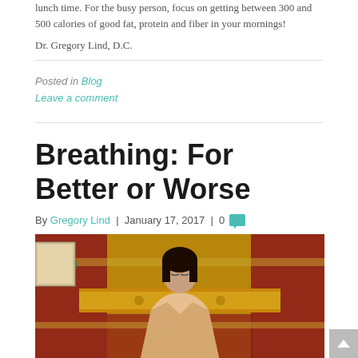lunch time. For the busy person, focus on getting between 300 and 500 calories of good fat, protein and fiber in your mornings!
Dr. Gregory Lind, D.C.
Posted in Blog
Leave a comment
Breathing: For Better or Worse
By Gregory Lind | January 17, 2017 | 0
[Figure (photo): A person meditating or breathing with eyes closed, seated in front of a colorful ornate tapestry background with gold and red patterns.]